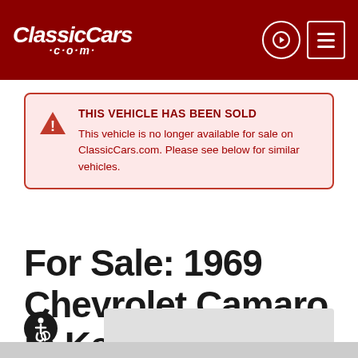ClassicCars.com
THIS VEHICLE HAS BEEN SOLD
This vehicle is no longer available for sale on ClassicCars.com. Please see below for similar vehicles.
For Sale: 1969 Chevrolet Camaro in Kentwood, Michigan
[Figure (other): Accessibility icon (wheelchair user symbol) in black circle]
[Figure (photo): Partially visible blurred car listing image placeholder]
[Figure (photo): Bottom strip showing partial car image]